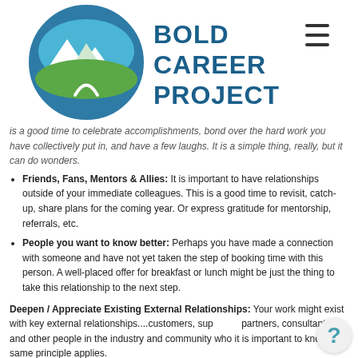[Figure (logo): Bold Career Project logo with mountain/path circle icon and bold text 'BOLD CAREER PROJECT']
is a good time to celebrate accomplishments, bond over the hard work you have collectively put in, and have a few laughs. It is a simple thing, really, but it can do wonders.
Friends, Fans, Mentors & Allies: It is important to have relationships outside of your immediate colleagues. This is a good time to revisit, catch-up, share plans for the coming year. Or express gratitude for mentorship, referrals, etc.
People you want to know better: Perhaps you have made a connection with someone and have not yet taken the step of booking time with this person. A well-placed offer for breakfast or lunch might be just the thing to take this relationship to the next step.
Deepen / Appreciate Existing External Relationships: Your work might exist with key external relationships....customers, suppliers, partners, consultants, and other people in the industry and community who it is important to know. The same principle applies.